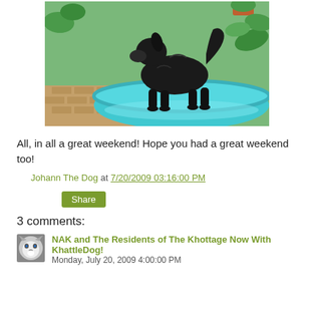[Figure (photo): A large black fluffy dog standing in a blue inflatable kiddie pool outdoors in a garden setting with green plants and brick paving visible.]
All, in all a great weekend! Hope you had a great weekend too!
Johann The Dog at 7/20/2009 03:16:00 PM
Share
3 comments:
NAK and The Residents of The Khottage Now With KhattleDog! Monday, July 20, 2009 4:00:00 PM